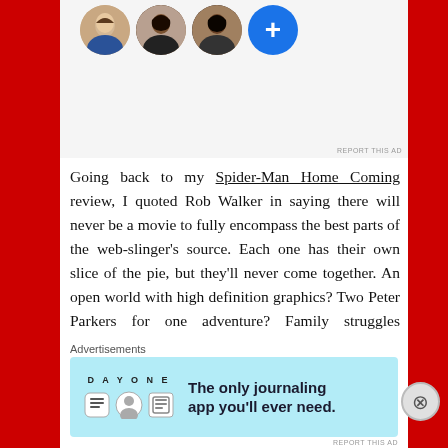[Figure (screenshot): Top portion of a web page showing user avatar profile images (three circular photos and a blue plus button) and a 'REPORT THIS AD' label, cropped at the top.]
Going back to my Spider-Man Home Coming review, I quoted Rob Walker in saying there will never be a movie to fully encompass the best parts of the web-slinger's source. Each one has their own slice of the pie, but they'll never come together. An open world with high definition graphics? Two Peter Parkers for one adventure? Family struggles alongside signature humor? Villains with stand out designs and hardcore powers? This could finally lead to that elusive goal as long as it doesn't turn into the repetitive garbage of Spider-Man 3 or The Amazing Spider-Man 2. There's plenty of licensed shovel ware at home with
Advertisements
[Figure (screenshot): Advertisement banner for DAY ONE journaling app with light blue background, app icons, and text: 'The only journaling app you'll ever need.']